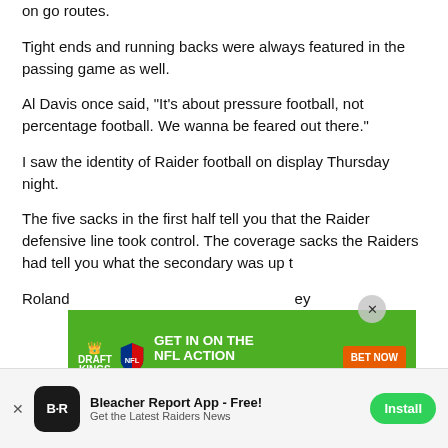on go routes.
Tight ends and running backs were always featured in the passing game as well.
Al Davis once said, "It's about pressure football, not percentage football. We wanna be feared out there."
I saw the identity of Raider football on display Thursday night.
The five sacks in the first half tell you that the Raider defensive line took control. The coverage sacks the Raiders had tell you what the secondary was up t
Roland ... ey
[Figure (screenshot): DraftKings NFL advertisement banner: green background with 'GET IN ON THE NFL ACTION' text and 'BET NOW' orange button and DraftKings/NFL logos]
[Figure (screenshot): Bleacher Report App install banner at bottom: app icon, 'Bleacher Report App - Free!' title, 'Get the Latest Raiders News' subtitle, green Install button]